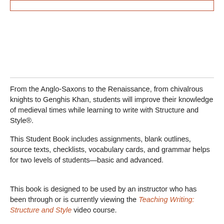[Figure (other): Empty bordered rectangle at top of page]
From the Anglo-Saxons to the Renaissance, from chivalrous knights to Genghis Khan, students will improve their knowledge of medieval times while learning to write with Structure and Style®.
This Student Book includes assignments, blank outlines, source texts, checklists, vocabulary cards, and grammar helps for two levels of students—basic and advanced.
This book is designed to be used by an instructor who has been through or is currently viewing the Teaching Writing: Structure and Style video course.